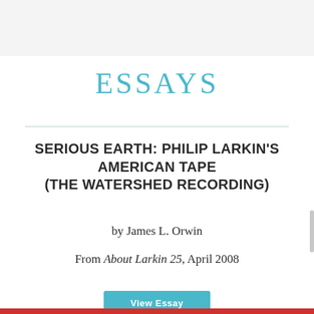ESSAYS
SERIOUS EARTH: PHILIP LARKIN'S AMERICAN TAPE (THE WATERSHED RECORDING)
by James L. Orwin
From About Larkin 25, April 2008